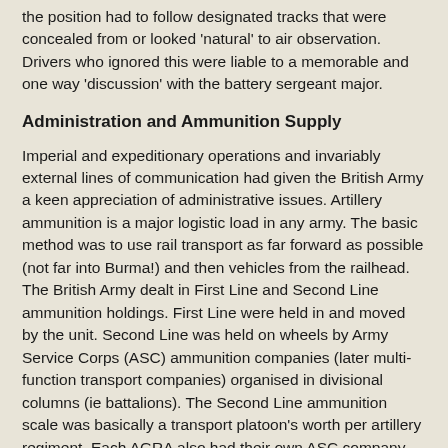the position had to follow designated tracks that were concealed from or looked 'natural' to air observation.  Drivers who ignored this were liable to a memorable and one way 'discussion' with the battery sergeant major.
Administration and Ammunition Supply
Imperial and expeditionary operations and invariably external lines of communication had given the British Army a keen appreciation of administrative issues. Artillery ammunition is a major logistic load in any army. The basic method was to use rail transport as far forward as possible (not far into Burma!) and then vehicles from the railhead.  The British Army dealt in First Line and Second Line ammunition holdings. First Line were held in and moved by the unit. Second Line was held on wheels by Army Service Corps (ASC) ammunition companies (later multi-function transport companies) organised in divisional columns (ie battalions). The Second Line ammunition scale was basically a transport platoon's worth per artillery regiment. Each AGRA also had their own ASC company and there were ASC units supporting the artillery under army, army group or GHQ command.
However, for major fire plans ASC vehicles would dump